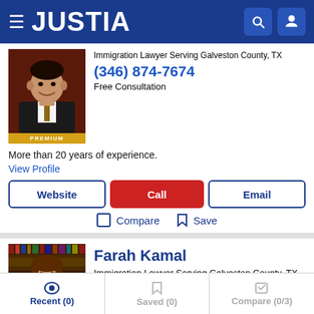[Figure (screenshot): Justia website header with logo and navigation icons]
[Figure (photo): Photo of male immigration lawyer with PREMIUM badge]
Immigration Lawyer Serving Galveston County, TX
(346) 874-7674
Free Consultation
More than 20 years of experience.
View Profile
Website | Call | Email
Compare   Save
Farah Kamal
Immigration Lawyer Serving Galveston County, TX
Recent (0)   Saved (0)   Compare (0/3)